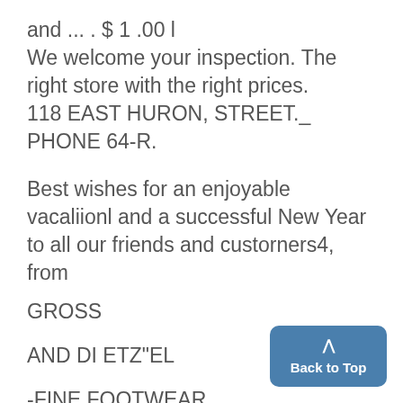and ... . $ 1 .00 l
We welcome your inspection. The right store with the right prices.
118 EAST HURON, STREET._ PHONE 64-R.
Best wishes for an enjoyable vacaliionl and a successful New Year to all our friends and custorners4, from
GROSS
AND DI ETZ"EL
-FINE FOOTWEAR